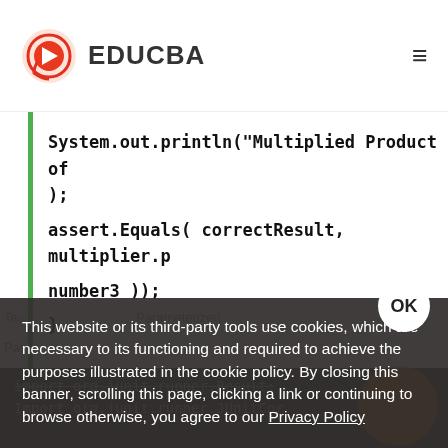[Figure (logo): EDUCBA logo with red/orange play button icon and EDUCBA text, plus hamburger menu icon on right]
System.out.println("Multiplied Product of
);
assert.Equals( correctResult, multiplier.p
number3 ));
}
This website or its third-party tools use cookies, which are necessary to its functioning and required to achieve the purposes illustrated in the cookie policy. By closing this banner, scrolling this page, clicking a link or continuing to browse otherwise, you agree to our Privacy Policy
import org.junit.runner.Result;
Import org.junit.runner.JUnitCor